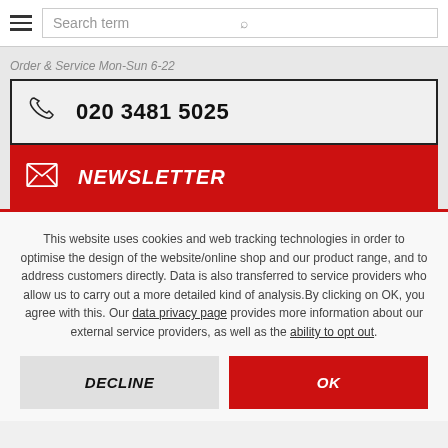Search term
Order & Service Mon-Sun 6-22
020 3481 5025
NEWSLETTER
This website uses cookies and web tracking technologies in order to optimise the design of the website/online shop and our product range, and to address customers directly. Data is also transferred to service providers who allow us to carry out a more detailed kind of analysis. By clicking on OK, you agree with this. Our data privacy page provides more information about our external service providers, as well as the ability to opt out.
DECLINE
OK